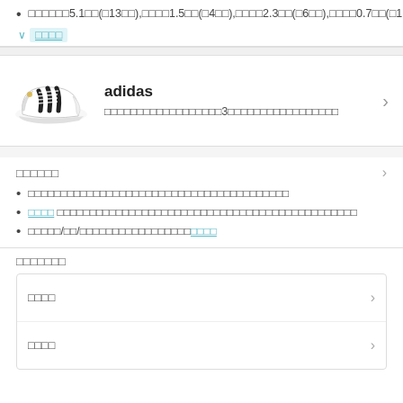□□□□□□5.1□□(□13□□),□□□□1.5□□(□4□□),□□□□2.3□□(□6□□),□□□□0.7□□(□1.8□),□□□□0.1□□(□7.9□)□
∨ □□□□
[Figure (photo): Adidas Superstar white sneaker with black stripes]
adidas □□□□□□□□□□□□□□□□□3□□□□□□□□□□□□□□□□□
□□□□□□
□□□□□□□□□□□□□□□□□□□□□□□□□□□□□□□□□□□□□□□□
□□□□ □□□□□□□□□□□□□□□□□□□□□□□□□□□□□□□□□□□□□□□□□□
□□□□□/□□/□□□□□□□□□□□□□□□□□□□□□□
□□□□□□□
□□□□
□□□□